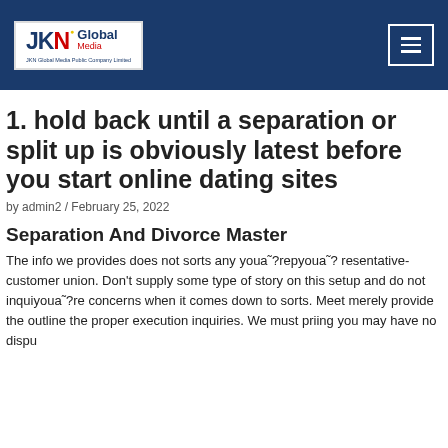JKN Global Media — navigation header
1. hold back until a separation or split up is obviously latest before you start online dating sites
by admin2 / February 25, 2022
Separation And Divorce Master
The info we provides does not sorts any youaˆ?repyouaˆ?resentative-customer union. Don't supply some type of story on this setup and do not inquiyouaˆ?re concerns when it comes down to sorts. Meet merely provide the outline the proper execution inquiries. We must priing you may have no dispute